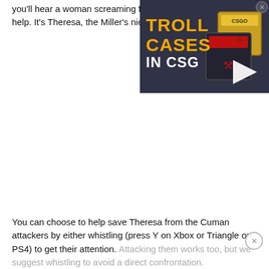you'll hear a woman screaming for help. It's Theresa, the Miller's niece.
[Figure (screenshot): Advertisement banner showing 'TROLL CASES IN CSGO' with game loot boxes/crates and a play button arrow on a dark background.]
You can choose to help save Theresa from the Cuman attackers by either whistling (press Y on Xbox or Triangle on PS4) to get their attention. Attacking them works too, but we suggest whistling to avoid a direct confrontation.